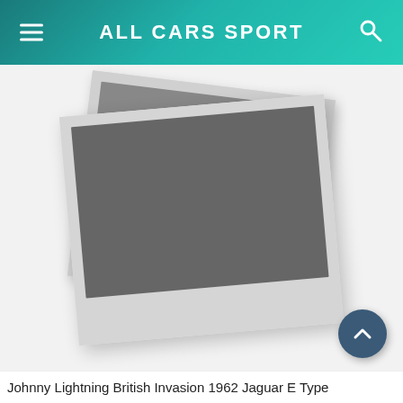ALL CARS SPORT
[Figure (photo): Two overlapping polaroid-style photograph placeholders (blurred/grey image placeholders) on a light grey/white background, one rotated clockwise and one counter-clockwise, resembling stacked photos with white borders.]
Johnny Lightning British Invasion 1962 Jaguar E Type